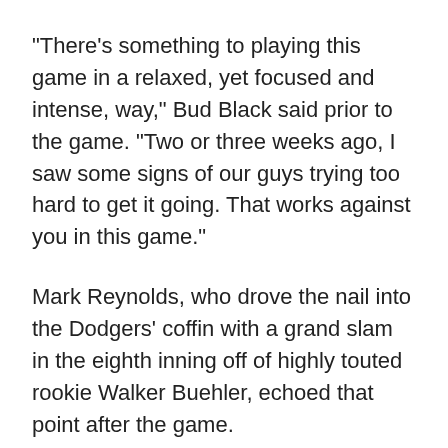“There’s something to playing this game in a relaxed, yet focused and intense, way,” Bud Black said prior to the game. “Two or three weeks ago, I saw some signs of our guys trying too hard to get it going. That works against you in this game.”
Mark Reynolds, who drove the nail into the Dodgers’ coffin with a grand slam in the eighth inning off of highly touted rookie Walker Buehler, echoed that point after the game.
“It’s a tough game,” Reynolds said. “Look at the Dodgers: they couldn’t lose, and now they can’t win. It’s a tough game to stay consistent at.”
Reynolds would certainly know. In the series opener on Thursday, he struck out twice with the bases loaded